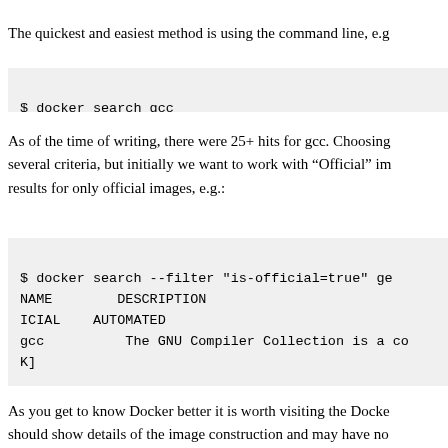The quickest and easiest method is using the command line, e.g
$ docker search gcc
As of the time of writing, there were 25+ hits for gcc. Choosing several criteria, but initially we want to work with "Official" im results for only official images, e.g.:
$ docker search --filter "is-official=true" ge
NAME        DESCRIPTION
ICIAL    AUTOMATED
gcc          The GNU Compiler Collection is a co K]
As you get to know Docker better it is worth visiting the Docke should show details of the image construction and may have no library/gcc helpfully does).